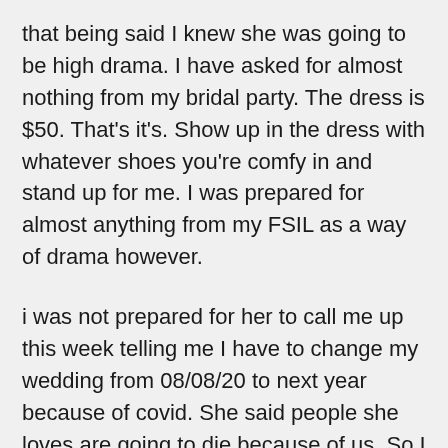that being said I knew she was going to be high drama. I have asked for almost nothing from my bridal party. The dress is $50. That's it's. Show up in the dress with whatever shoes you're comfy in and stand up for me. I was prepared for almost anything from my FSIL as a way of drama however.
i was not prepared for her to call me up this week telling me I have to change my wedding from 08/08/20 to next year because of covid. She said people she loves are going to die because of us. So I told her she was welcome not to come but we've discussed it and we're not moving the wedding. So she asks if I can just have the wedding with immediate family (hers not mine of course 🤷‍♀️🤷‍♀️🙆‍♀️🙆‍♀️). I calmly explain that we're not going to do that and the only thing that will stop our wedding